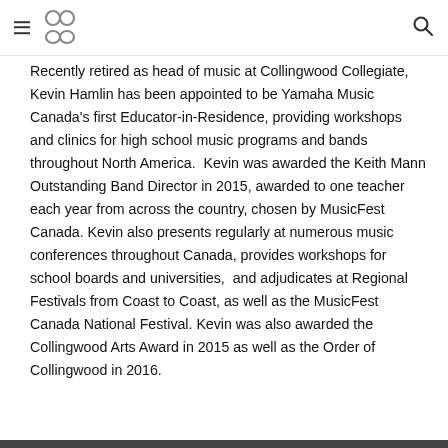[Navigation header with hamburger menu, logo, and search icon]
Recently retired as head of music at Collingwood Collegiate, Kevin Hamlin has been appointed to be Yamaha Music Canada's first Educator-in-Residence, providing workshops and clinics for high school music programs and bands throughout North America.  Kevin was awarded the Keith Mann Outstanding Band Director in 2015, awarded to one teacher each year from across the country, chosen by MusicFest Canada. Kevin also presents regularly at numerous music conferences throughout Canada, provides workshops for school boards and universities,  and adjudicates at Regional Festivals from Coast to Coast, as well as the MusicFest Canada National Festival. Kevin was also awarded the Collingwood Arts Award in 2015 as well as the Order of Collingwood in 2016.